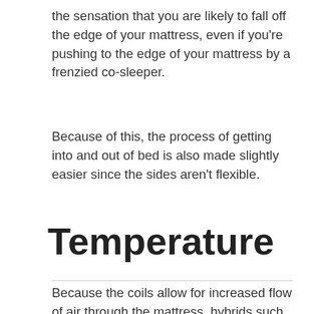the sensation that you are likely to fall off the edge of your mattress, even if you're pushing to the edge of your mattress by a frenzied co-sleeper.
Because of this, the process of getting into and out of bed is also made slightly easier since the sides aren't flexible.
Temperature
Because the coils allow for increased flow of air through the mattress, hybrids such